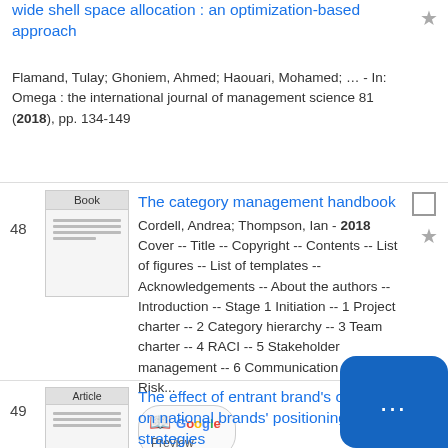wide shell space allocation : an optimization-based approach
Flamand, Tulay; Ghoniem, Ahmed; Haouari, Mohamed; … - In: Omega : the international journal of management science 81 (2018), pp. 134-149
48
[Figure (other): Book thumbnail image placeholder]
The category management handbook
Cordell, Andrea; Thompson, Ian - 2018
Cover -- Title -- Copyright -- Contents -- List of figures -- List of templates -- Acknowledgements -- About the authors -- Introduction -- Stage 1 Initiation -- 1 Project charter -- 2 Category hierarchy -- 3 Team charter -- 4 RACI -- 5 Stakeholder management -- 6 Communication plan -- 7 Risk...
[Figure (other): Google Preview button]
49
[Figure (other): Article thumbnail image placeholder]
The effect of entrant brand's ownership on national brands' positioning strategies